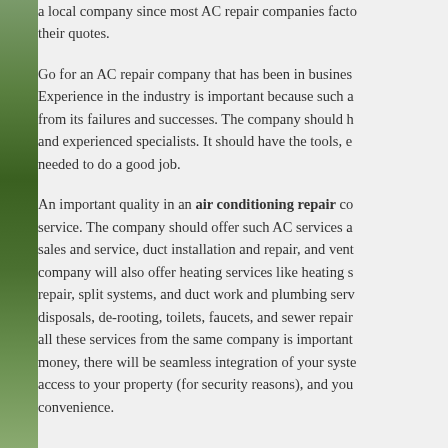a local company since most AC repair companies facto their quotes.

Go for an AC repair company that has been in busines Experience in the industry is important because such a from its failures and successes. The company should h and experienced specialists. It should have the tools, e needed to do a good job.

An important quality in an air conditioning repair co service. The company should offer such AC services a sales and service, duct installation and repair, and vent company will also offer heating services like heating s repair, split systems, and duct work and plumbing serv disposals, de-rooting, toilets, faucets, and sewer repair all these services from the same company is important money, there will be seamless integration of your syste access to your property (for security reasons), and you convenience.